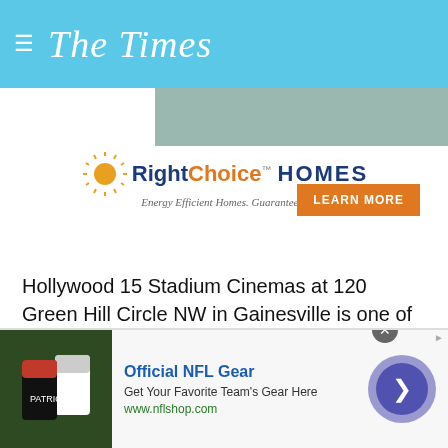The Times
[Figure (photo): Advertisement banner showing a person relaxing on a couch, Right Choice Homes ad with sun logo, tagline 'Energy Efficient Homes. Guaranteed.' and orange LEARN MORE button]
Hollywood 15 Stadium Cinemas at 120 Green Hill Circle NW in Gainesville is one of the locations chosen to debut the film.
The movie, rated PG, will be showing in Gainesville at 7 9 p.m. Jan. 20-22.
Considering the multiple local ties, it's fitting that Gainesville was chosen as one of the host cities.
[Figure (screenshot): Advertisement for Official NFL Gear - Get Your Favorite Team's Gear Here, www.nflshop.com, with image of NFL jerseys and a purple arrow button]